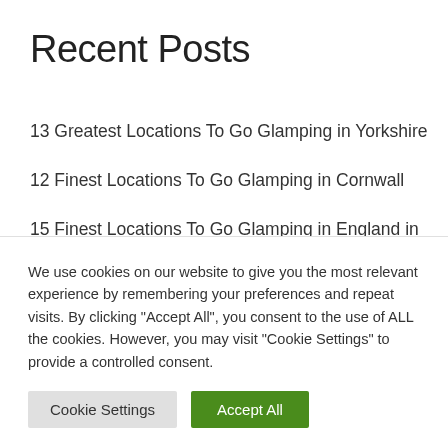Recent Posts
13 Greatest Locations To Go Glamping in Yorkshire
12 Finest Locations To Go Glamping in Cornwall
15 Finest Locations To Go Glamping in England in 2022
TOP 15 Glamping Massachusetts Websites in 2022
15 Unbelievable Locations To Go Glamping in Louisiana
We use cookies on our website to give you the most relevant experience by remembering your preferences and repeat visits. By clicking "Accept All", you consent to the use of ALL the cookies. However, you may visit "Cookie Settings" to provide a controlled consent.
Cookie Settings | Accept All